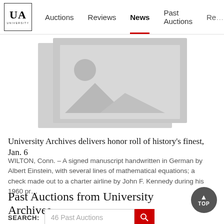UA UNIVERSITY | Auctions | Reviews | News | Past Auctions | Re...
[Figure (illustration): Two overlapping grey placeholder image thumbnails with mountain/landscape and sun icons]
University Archives delivers honor roll of history’s finest, Jan. 6
WILTON, Conn. – A signed manuscript handwritten in German by Albert Einstein, with several lines of mathematical equations; a check made out to a charter airline by John F. Kennedy during his 1960 pr…
Past Auctions from University Archives
SEARCH: 46 Past Auctions